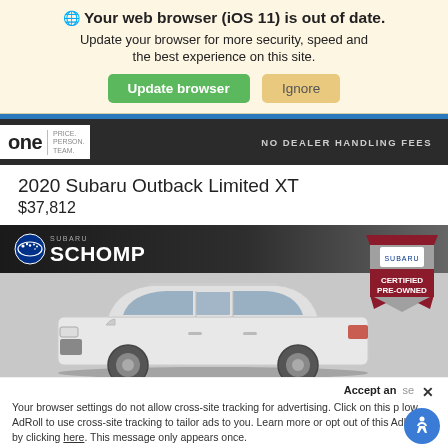Your web browser (iOS 11) is out of date. Update your browser for more security, speed and the best experience on this site.
Update browser | Ignore
[Figure (screenshot): Dealer website header showing 'one' logo with tagline 'NO DEALER HANDLING FEES' on dark background]
2020 Subaru Outback Limited XT $37,812
[Figure (photo): 2020 Subaru Outback Limited XT white SUV shown from the side, with Schomp Subaru dealer branding and Certified Pre-Owned badge]
Accept an... se X Your browser settings do not allow cross-site tracking for advertising. Click on this p low AdRoll to use cross-site tracking to tailor ads to you. Learn more or opt out of this Ad king by clicking here. This message only appears once.